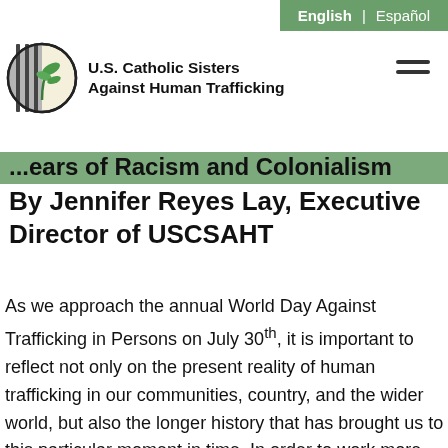English | Español
[Figure (logo): U.S. Catholic Sisters Against Human Trafficking logo — circular icon with a plant and prison bars, next to bold text reading 'U.S. Catholic Sisters Against Human Trafficking']
...ears of Racism and Colonialism By Jennifer Reyes Lay, Executive Director of USCSAHT
As we approach the annual World Day Against Trafficking in Persons on July 30th, it is important to reflect not only on the present reality of human trafficking in our communities, country, and the wider world, but also the longer history that has brought us to this particular moment in time. In order to work more effectively in realizing a world without slavery with a network of services and resources to inform the public, prevent the crime and assist survivors to achieve a fulfilling life, we